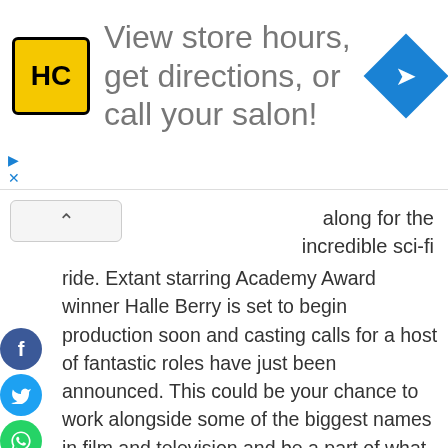[Figure (advertisement): HC salon ad banner with yellow logo, text 'View store hours, get directions, or call your salon!' and blue navigation diamond icon]
along for the incredible sci-fi ride. Extant starring Academy Award winner Halle Berry is set to begin production soon and casting calls for a host of fantastic roles have just been announced. This could be your chance to work alongside some of the biggest names in film and television and be a part of what promises to be the next CBS primetime phenomenon.
Extant will star Berry (X-Men: Days of Future Past, New Year's Eve, Die Another Day) as astronaut Molly Watts who returns home to her husband and son after a yearlong mission in space. As Molly tries to resume a semblance of a normal life on Earth she soon discovers that neither she